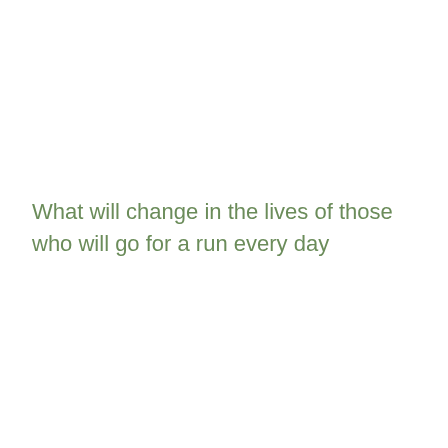What will change in the lives of those who will go for a run every day